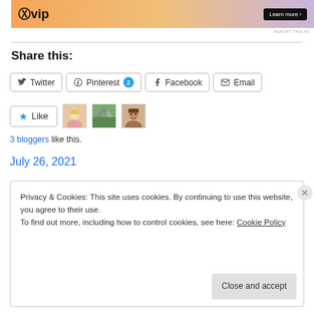[Figure (screenshot): Ad banner with WP VIP logo and Learn more button on orange-purple gradient background]
REPORT THIS AD
Share this:
Twitter | Pinterest 2 | Facebook | Email (share buttons)
[Figure (infographic): Like button with star icon and 3 blogger avatars (female, outdoor scene, male face)]
3 bloggers like this.
July 26, 2021
Privacy & Cookies: This site uses cookies. By continuing to use this website, you agree to their use.
To find out more, including how to control cookies, see here: Cookie Policy
Close and accept